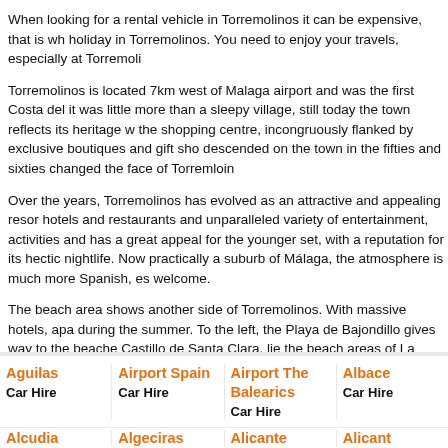When looking for a rental vehicle in Torremolinos it can be expensive, that is why we offer you cheap car hire and holiday in Torremolinos. You need to enjoy your travels, especially at Torremolinos...
Torremolinos is located 7km west of Malaga airport and was the first Costa del Sol resort. In the 1950s it was little more than a sleepy village, still today the town reflects its heritage with its narrow streets, the shopping centre, incongruously flanked by exclusive boutiques and gift shops. The tourists who descended on the town in the fifties and sixties changed the face of Torremolinos...
Over the years, Torremolinos has evolved as an attractive and appealing resort, with its excellent beach, hotels and restaurants and unparalleled variety of entertainment, activities and shops. Torremolinos has a great appeal for the younger set, with a reputation for its hectic nightlife. More recently, the town is Now practically a suburb of Málaga, the atmosphere is much more Spanish, especially welcome.
The beach area shows another side of Torremolinos. With massive hotels, apartments and attractions during the summer. To the left, the Playa de Bajondillo gives way to the beaches of El Castillo de Santa Clara, lie the beach areas of La Carihuela and Montemar.
Make sure you book your car rentals before you travel to Torremolinos and you can book online at car-hire.co.uk. We offer you the traveller great online deals for holiday car rentals a holiday and save pounds
Back to: Car Hire Spain or Rent a Car Malaga or find Car Rentals Spain Information about car hire.co.uk
Information about car hire.co.uk
Aguilas Car Hire | Airport Spain Car Hire | Airport The Balearics Car Hire | Albace Car Hire | Alcudia | Algeciras | Alicante | Alicant...